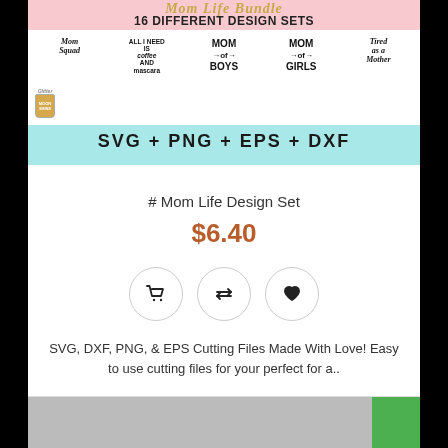[Figure (illustration): Product listing image for Mom Life Design Set showing 16 different design sets including 'Mom Squad', 'All I Need is Coffee and Mascara', 'Mom of Boys', 'Mom of Girls', 'Tired as a Mother', with formats SVG + PNG + EPS + DXF on a pink, white, and teal background]
# Mom Life Design Set
$6.40
[Figure (infographic): Three circular action buttons: shopping cart, transfer/compare arrows, and heart/wishlist icons]
SVG, DXF, PNG, & EPS Cutting Files Made With Love! Easy to use cutting files for your perfect for a..
[Figure (photo): Partial view of next product listing image at bottom of page]